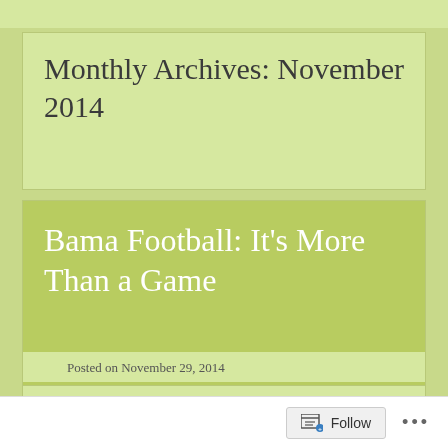Monthly Archives: November 2014
Bama Football: It's More Than a Game
Posted on November 29, 2014
Bama Football: It’s More Than a Game.